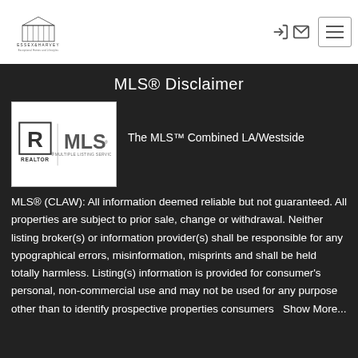[Figure (logo): Essex & Harvey real estate logo with building illustration]
[Figure (other): Navigation icons: user/login icon and mail icon, plus hamburger menu button]
MLS® Disclaimer
[Figure (logo): REALTOR MLS Multiple Listing Service logo in black and white]
The MLS™ Combined LA/Westside
MLS® (CLAW): All information deemed reliable but not guaranteed. All properties are subject to prior sale, change or withdrawal. Neither listing broker(s) or information provider(s) shall be responsible for any typographical errors, misinformation, misprints and shall be held totally harmless. Listing(s) information is provided for consumer's personal, non-commercial use and may not be used for any purpose other than to identify prospective properties consumers  Show More...